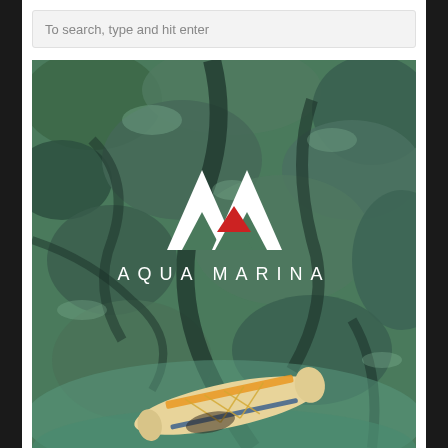To search, type and hit enter
[Figure (photo): Aerial top-down view of clear shallow water over rocky/coral seabed in green tones, with an inflatable stand-up paddleboard visible at the bottom of the image. The Aqua Marina logo (white AM mountain-style mark with a red triangle accent) and the text AQUA MARINA are overlaid in the upper-center of the image.]